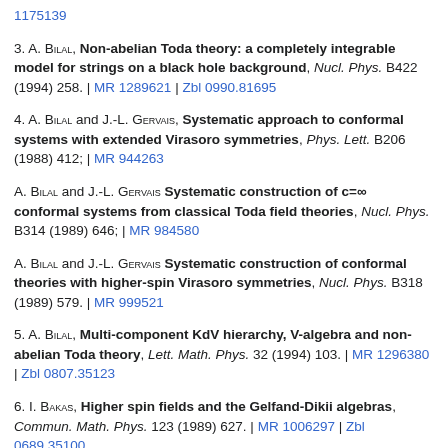1175139
3. A. Bilal, Non-abelian Toda theory: a completely integrable model for strings on a black hole background, Nucl. Phys. B422 (1994) 258. | MR 1289621 | Zbl 0990.81695
4. A. Bilal and J.-L. Gervais, Systematic approach to conformal systems with extended Virasoro symmetries, Phys. Lett. B206 (1988) 412; | MR 944263
A. Bilal and J.-L. Gervais Systematic construction of c=∞ conformal systems from classical Toda field theories, Nucl. Phys. B314 (1989) 646; | MR 984580
A. Bilal and J.-L. Gervais Systematic construction of conformal theories with higher-spin Virasoro symmetries, Nucl. Phys. B318 (1989) 579. | MR 999521
5. A. Bilal, Multi-component KdV hierarchy, V-algebra and non-abelian Toda theory, Lett. Math. Phys. 32 (1994) 103. | MR 1296380 | Zbl 0807.35123
6. I. Bakas, Higher spin fields and the Gelfand-Dikii algebras, Commun. Math. Phys. 123 (1989) 627. | MR 1006297 | Zbl 0689.35100